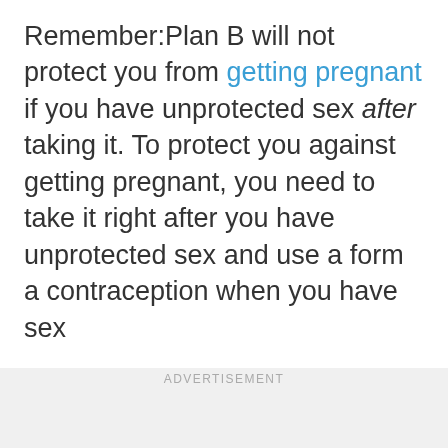Remember:Plan B will not protect you from getting pregnant if you have unprotected sex after taking it. To protect you against getting pregnant, you need to take it right after you have unprotected sex and use a form a contraception when you have sex
ADVERTISEMENT